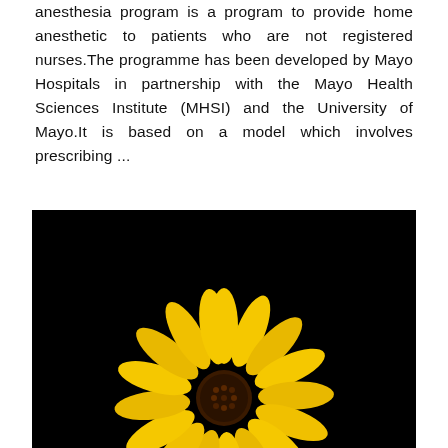anesthesia program is a program to provide home anesthetic to patients who are not registered nurses.The programme has been developed by Mayo Hospitals in partnership with the Mayo Health Sciences Institute (MHSI) and the University of Mayo.It is based on a model which involves prescribing ...
[Figure (photo): A yellow flower (sunflower-like) photographed against a black background, showing petals with slight moisture droplets, partially cropped at the bottom of the frame.]